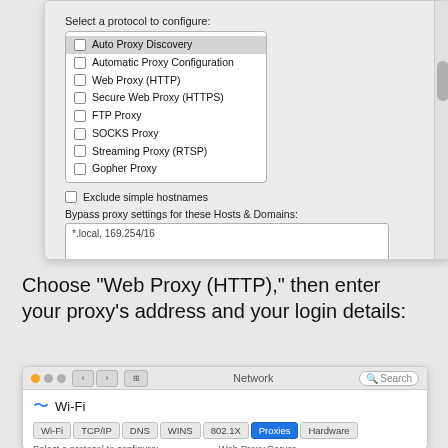[Figure (screenshot): macOS proxy settings dialog showing a list of proxy protocol options (Auto Proxy Discovery, Automatic Proxy Configuration, Web Proxy (HTTP), Secure Web Proxy (HTTPS), FTP Proxy, SOCKS Proxy, Streaming Proxy (RTSP), Gopher Proxy), Exclude simple hostnames checkbox, Bypass proxy settings text field with '*.local, 169.254/16', Use Passive FTP Mode (PASV) checkbox checked, and Cancel/OK buttons.]
Choose "Web Proxy (HTTP)," then enter your proxy's address and your login details:
[Figure (screenshot): macOS Network preferences window showing Wi-Fi selected, with tabs: Wi-Fi, TCP/IP, DNS, WINS, 802.1X, Proxies (active), Hardware. Bottom row shows 'Select a protocol to configure:' and 'Web Proxy Server' labels.]